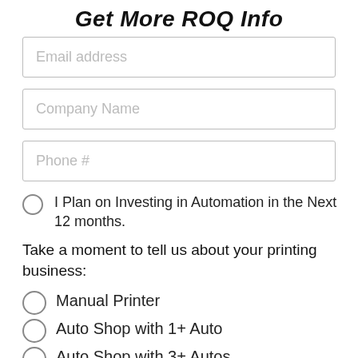Get More ROQ Info
Email address
Company Name
Phone #
I Plan on Investing in Automation in the Next 12 months.
Take a moment to tell us about your printing business:
Manual Printer
Auto Shop with 1+ Auto
Auto Shop with 3+ Autos